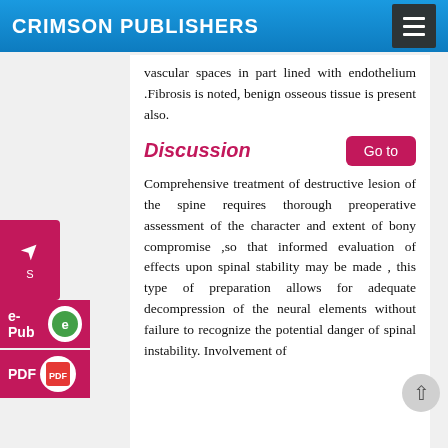CRIMSON PUBLISHERS
vascular spaces in part lined with endothelium .Fibrosis is noted, benign osseous tissue is present also.
Discussion
Comprehensive treatment of destructive lesion of the spine requires thorough preoperative assessment of the character and extent of bony compromise ,so that informed evaluation of effects upon spinal stability may be made , this type of preparation allows for adequate decompression of the neural elements without failure to recognize the potential danger of spinal instability. Involvement of